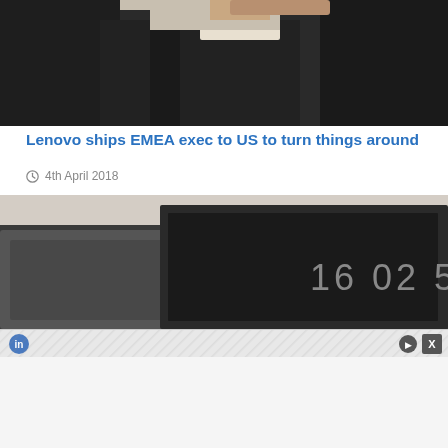[Figure (photo): Close-up photo of a person in a dark suit jacket, cropped showing shoulders and back of head, beige/tan background]
Lenovo ships EMEA exec to US to turn things around
4th April 2018
[Figure (photo): Close-up photo of dark laptops on a desk, showing partial text '16 02 5' on one device]
[Figure (screenshot): Advertisement bar with blue social media icon on left and X close button on right]